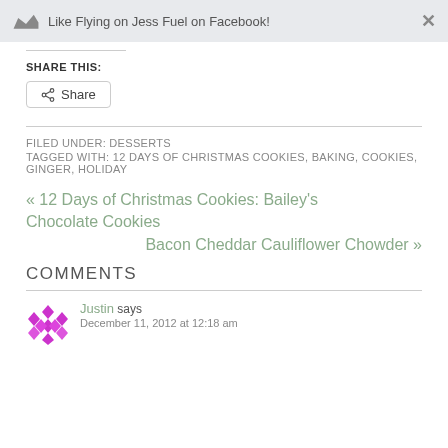Like Flying on Jess Fuel on Facebook!
SHARE THIS:
Share
FILED UNDER: DESSERTS
TAGGED WITH: 12 DAYS OF CHRISTMAS COOKIES, BAKING, COOKIES, GINGER, HOLIDAY
« 12 Days of Christmas Cookies: Bailey's Chocolate Cookies
Bacon Cheddar Cauliflower Chowder »
COMMENTS
Justin says December 11, 2012 at 12:18 am